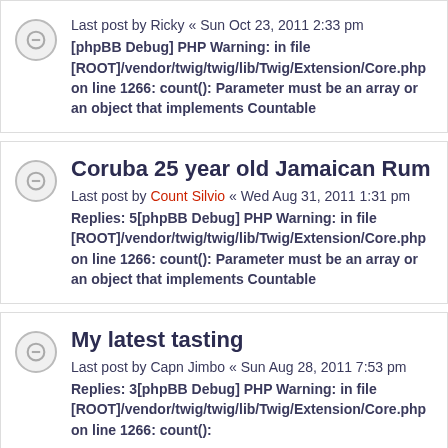Last post by Ricky « Sun Oct 23, 2011 2:33 pm [phpBB Debug] PHP Warning: in file [ROOT]/vendor/twig/twig/lib/Twig/Extension/Core.php on line 1266: count(): Parameter must be an array or an object that implements Countable
Coruba 25 year old Jamaican Rum
Last post by Count Silvio « Wed Aug 31, 2011 1:31 pm Replies: 5[phpBB Debug] PHP Warning: in file [ROOT]/vendor/twig/twig/lib/Twig/Extension/Core.php on line 1266: count(): Parameter must be an array or an object that implements Countable
My latest tasting
Last post by Capn Jimbo « Sun Aug 28, 2011 7:53 pm Replies: 3[phpBB Debug] PHP Warning: in file [ROOT]/vendor/twig/twig/lib/Twig/Extension/Core.php on line 1266: count():